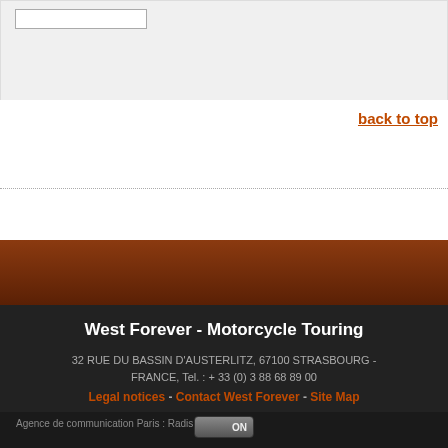back to top
West Forever - Motorcycle Touring
32 RUE DU BASSIN D'AUSTERLITZ, 67100 STRASBOURG - FRANCE, Tel. : + 33 (0) 3 88 68 89 00
Legal notices - Contact West Forever - Site Map
Agence de communication Paris : Radis Noir